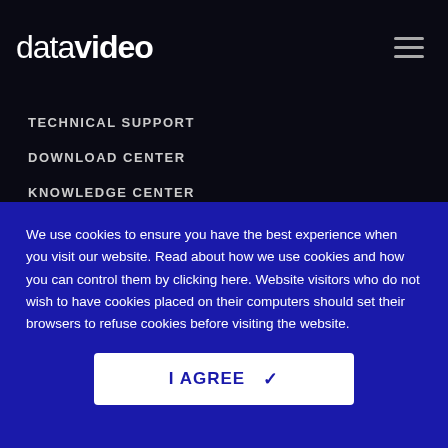datavideo
TECHNICAL SUPPORT
DOWNLOAD CENTER
KNOWLEDGE CENTER
CASE STUDY
COMPANY
We use cookies to ensure you have the best experience when you visit our website. Read about how we use cookies and how you can control them by clicking here. Website visitors who do not wish to have cookies placed on their computers should set their browsers to refuse cookies before visiting the website.
I AGREE ✓